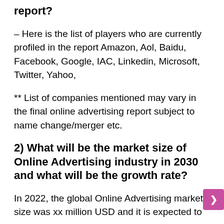report?
– Here is the list of players who are currently profiled in the report Amazon, Aol, Baidu, Facebook, Google, IAC, Linkedin, Microsoft, Twitter, Yahoo,
** List of companies mentioned may vary in the final online advertising report subject to name change/merger etc.
2) What will be the market size of Online Advertising industry in 2030 and what will be the growth rate?
In 2022, the global Online Advertising market size was xx million USD and it is expected to